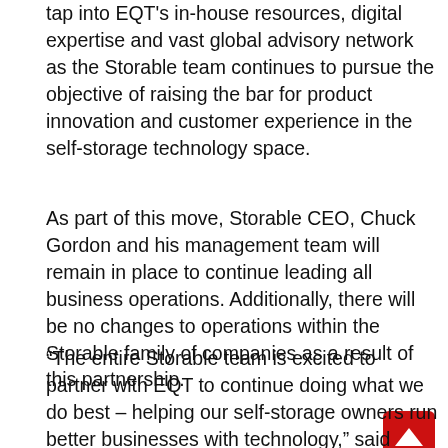tap into EQT's in-house resources, digital expertise and vast global advisory network as the Storable team continues to pursue the objective of raising the bar for product innovation and customer experience in the self-storage technology space.
As part of this move, Storable CEO, Chuck Gordon and his management team will remain in place to continue leading all business operations. Additionally, there will be no changes to operations within the Storable family of companies as a result of this partnership.
“The entire Storable team is excited to partner with EQT to continue doing what we do best – helping our self-storage owners run better businesses with technology,” said Gordon. “EQT’s expertise will